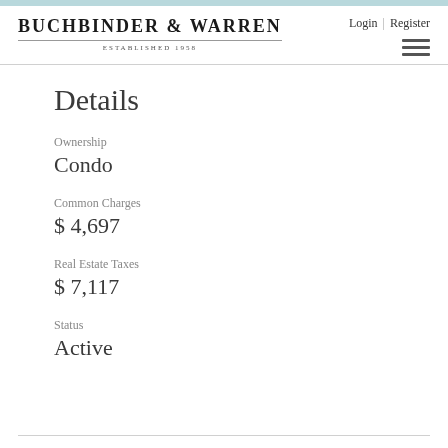BUCHBINDER & WARREN
ESTABLISHED 1958
Login | Register
Details
Ownership
Condo
Common Charges
$ 4,697
Real Estate Taxes
$ 7,117
Status
Active